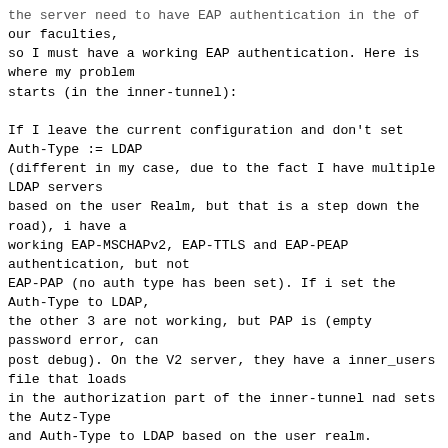our faculties,
so I must have a working EAP authentication. Here is where my problem
starts (in the inner-tunnel):

If I leave the current configuration and don't set
Auth-Type := LDAP
(different in my case, due to the fact I have multiple LDAP servers
based on the user Realm, but that is a step down the road), i have a
working EAP-MSCHAPv2, EAP-TTLS and EAP-PEAP authentication, but not
EAP-PAP (no auth type has been set). If i set the Auth-Type to LDAP,
the other 3 are not working, but PAP is (empty password error, can
post debug). On the V2 server, they have a inner_users file that loads
in the authorization part of the inner-tunnel nad sets the Autz-Type
and Auth-Type to LDAP based on the user realm.

So based on the v3 configuration files it's not good to the set the
auth type, because the other types don't work (my case). But I would
like to set the Auth type to LDAP IF no other auth type has been set.
I've tried if(!Auth-Type) {} on the bottom of